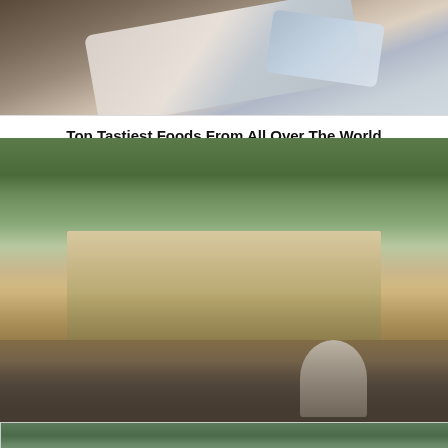[Figure (photo): Close-up photo of hands holding what appears to be food wrapped in paper or a bag, dark background]
Top Tastiest Foods From All Over The World
[Figure (photo): Aerial photo of Buckingham Palace with large crowds gathered in front, green parkland behind the palace]
Let's Take A Look! The World's Most Beautiful Royal Palaces
[Figure (photo): Partial view of a garden or landscape scene, bottom of page]